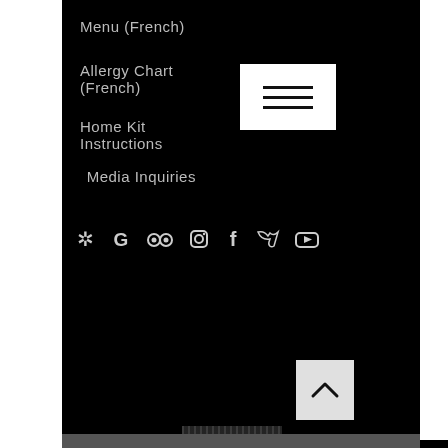Menu (French)
Allergy Chart (French)
[Figure (other): Hamburger menu icon — three horizontal lines on white background]
Home Kit Instructions
Media Inquiries
[Figure (other): Social media icons row: Yelp, Google, TripAdvisor, Instagram, Facebook, Twitter, YouTube]
[Figure (other): Back to top button — chevron/caret pointing up on light grey background]